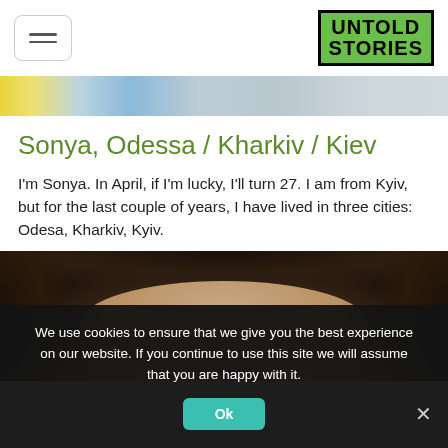UNTOLD STORIES
[Figure (photo): Horizontal banner strip showing partial images of people and objects with blue, yellow, and grey tones]
Sonya, Odessa / Kharkiv / Kiev
I'm Sonya. In April, if I'm lucky, I'll turn 27. I am from Kyiv, but for the last couple of years, I have lived in three cities: Odesa, Kharkiv, Kyiv.
[Figure (photo): Close-up portrait photograph of a young woman with dark curly hair, showing forehead and upper face]
We use cookies to ensure that we give you the best experience on our website. If you continue to use this site we will assume that you are happy with it.